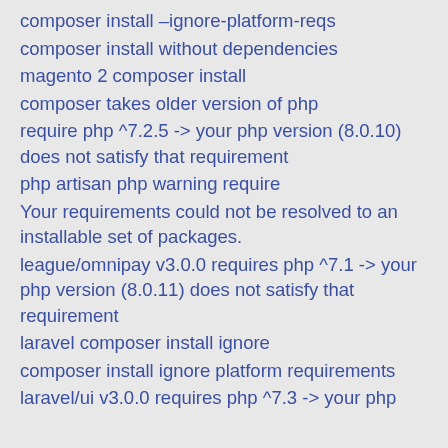composer install –ignore-platform-reqs
composer install without dependencies
magento 2 composer install
composer takes older version of php
require php ^7.2.5 -> your php version (8.0.10) does not satisfy that requirement
php artisan php warning require
Your requirements could not be resolved to an installable set of packages.
league/omnipay v3.0.0 requires php ^7.1 -> your php version (8.0.11) does not satisfy that requirement
laravel composer install ignore
composer install ignore platform requirements
laravel/ui v3.0.0 requires php ^7.3 -> your php